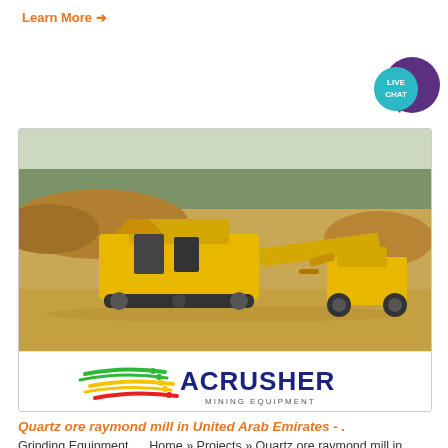Learn More →
[Figure (photo): Live chat bubble icon in teal/purple in top right corner]
[Figure (photo): Mining equipment photo showing large yellow mobile crusher/screener on sandy terrain with trees in background and a yellow loader vehicle. Below is the ACRUSHER MINING EQUIPMENT logo on white background.]
Quartz ore raymond mill in United Arab Emirates - .
Grinding Equipment. ... Home » Projects » Quartz ore raymond mill in United Arab Emirates. Quartz ore raymond